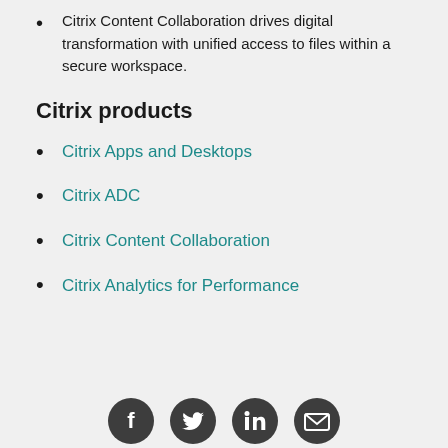Citrix Content Collaboration drives digital transformation with unified access to files within a secure workspace.
Citrix products
Citrix Apps and Desktops
Citrix ADC
Citrix Content Collaboration
Citrix Analytics for Performance
[Figure (illustration): Four social media/contact icons in dark gray circles: Facebook, Twitter, LinkedIn, Email]